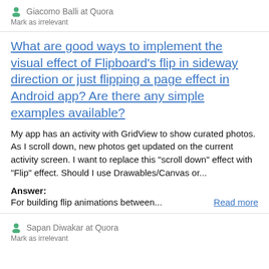Giacomo Balli at Quora
Mark as irrelevant
What are good ways to implement the visual effect of Flipboard's flip in sideway direction or just flipping a page effect in Android app? Are there any simple examples available?
My app has an activity with GridView to show curated photos. As I scroll down, new photos get updated on the current activity screen. I want to replace this "scroll down" effect with "Flip" effect. Should I use Drawables/Canvas or...
Answer:
For building flip animations between...
Read more
Sapan Diwakar at Quora
Mark as irrelevant